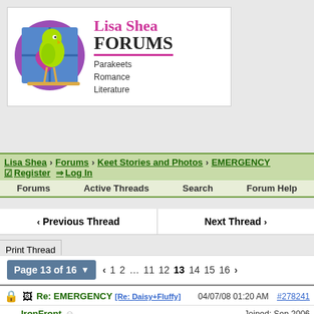[Figure (logo): Lisa Shea Forums logo with parakeet illustration, text: Lisa Shea FORUMS, Parakeets Romance Literature]
Lisa Shea > Forums > Keet Stories and Photos > EMERGENCY    Register   Log In
Forums   Active Threads   Search   Forum Help
Previous Thread   Next Thread
Print Thread
Page 13 of 16  < 1 2 ... 11 12 13 14 15 16 >
Re: EMERGENCY [Re: Daisy+Fluffy]   04/07/08 01:20 AM  #278241
IronFront  Joined: Sep 2006